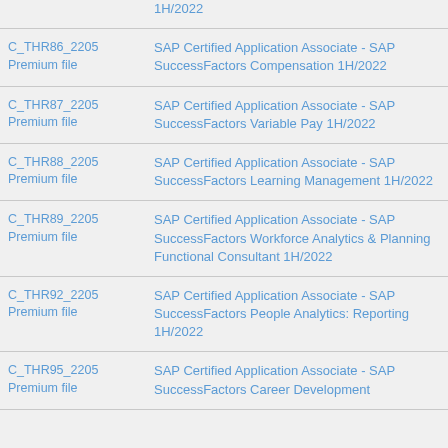| Code | Description |
| --- | --- |
|  | 1H/2022 |
| C_THR86_2205
Premium file | SAP Certified Application Associate - SAP SuccessFactors Compensation 1H/2022 |
| C_THR87_2205
Premium file | SAP Certified Application Associate - SAP SuccessFactors Variable Pay 1H/2022 |
| C_THR88_2205
Premium file | SAP Certified Application Associate - SAP SuccessFactors Learning Management 1H/2022 |
| C_THR89_2205
Premium file | SAP Certified Application Associate - SAP SuccessFactors Workforce Analytics & Planning Functional Consultant 1H/2022 |
| C_THR92_2205
Premium file | SAP Certified Application Associate - SAP SuccessFactors People Analytics: Reporting 1H/2022 |
| C_THR95_2205
Premium file | SAP Certified Application Associate - SAP SuccessFactors Career Development |